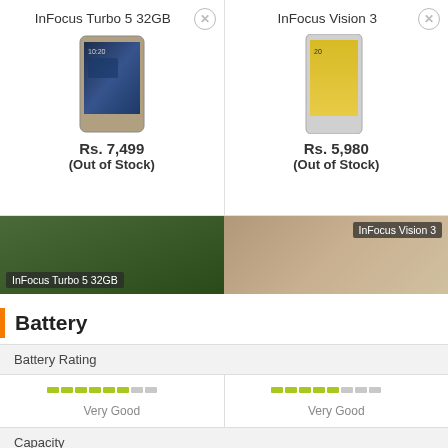[Figure (screenshot): InFocus Turbo 5 32GB phone product card with image, price Rs. 7,499 (Out of Stock)]
[Figure (screenshot): InFocus Vision 3 phone product card with image, price Rs. 5,980 (Out of Stock)]
[Figure (photo): InFocus Turbo 5 32GB banner photo - green forest background]
[Figure (photo): InFocus Vision 3 banner photo - architectural background]
Battery
|  | InFocus Turbo 5 32GB | InFocus Vision 3 |
| --- | --- | --- |
| Battery Rating | Very Good | Very Good |
| Capacity | 5000 mAh | 4000 mAh |
| Type | Li-ion | Li-ion |
| Removable |  |  |